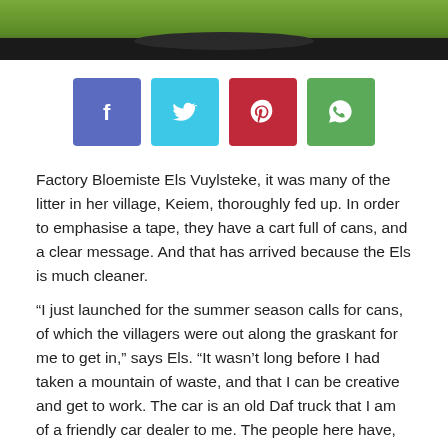[Figure (photo): Top portion of a photo showing a car/truck decorated with cans on grass, partially cropped at top of page]
[Figure (infographic): Social share buttons: Facebook (blue-purple), Twitter (cyan), Pinterest (red), WhatsApp (green)]
Factory Bloemiste Els Vuylsteke, it was many of the litter in her village, Keiem, thoroughly fed up. In order to emphasise a tape, they have a cart full of cans, and a clear message. And that has arrived because the Els is much cleaner.
“I just launched for the summer season calls for cans, of which the villagers were out along the graskant for me to get in,” says Els. “It wasn’t long before I had taken a mountain of waste, and that I can be creative and get to work. The car is an old Daf truck that I am of a friendly car dealer to me. The people here have, so again geraapt in order to participate in the project. This means that they are aware of the problem. With